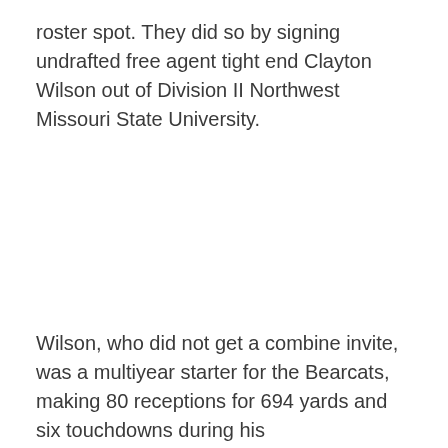roster spot. They did so by signing undrafted free agent tight end Clayton Wilson out of Division II Northwest Missouri State University.
Wilson, who did not get a combine invite, was a multiyear starter for the Bearcats, making 80 receptions for 694 yards and six touchdowns during his